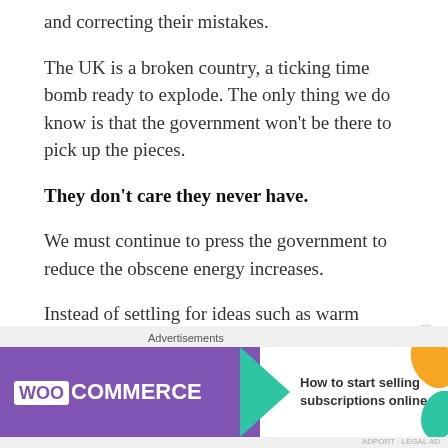and correcting their mistakes.
The UK is a broken country, a ticking time bomb ready to explode. The only thing we do know is that the government won't be there to pick up the pieces.
They don't care they never have.
We must continue to press the government to reduce the obscene energy increases.
Instead of settling for ideas such as warm banks we need to make our voices heard.
[Figure (screenshot): WooCommerce advertisement banner: 'How to start selling subscriptions online']